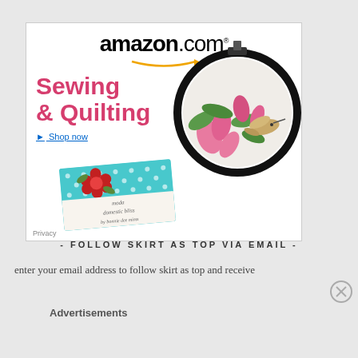[Figure (advertisement): Amazon.com advertisement for Sewing & Quilting category showing embroidery hoop with hummingbird and flowers cross-stitch, and a Moda 'domestic bliss' fabric swatch card on a teal/turquoise background with floral pattern]
- FOLLOW SKIRT AS TOP VIA EMAIL -
enter your email address to follow skirt as top and receive
Advertisements